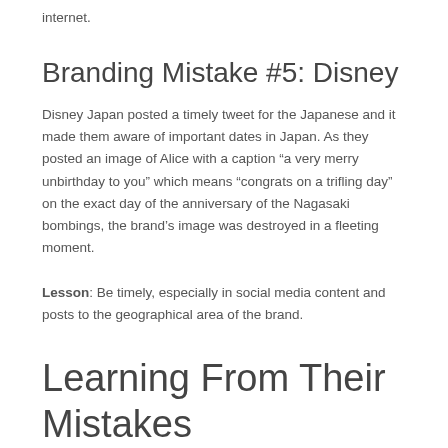internet.
Branding Mistake #5: Disney
Disney Japan posted a timely tweet for the Japanese and it made them aware of important dates in Japan. As they posted an image of Alice with a caption “a very merry unbirthday to you” which means “congrats on a trifling day” on the exact day of the anniversary of the Nagasaki bombings, the brand’s image was destroyed in a fleeting moment.
Lesson: Be timely, especially in social media content and posts to the geographical area of the brand.
Learning From Their Mistakes